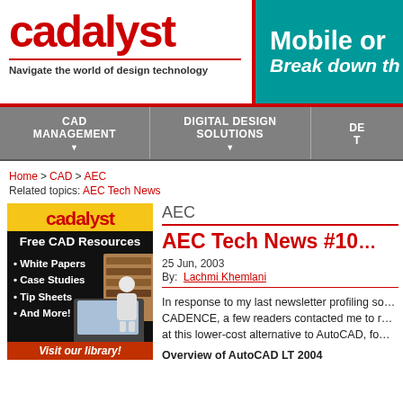[Figure (logo): Cadalyst logo with tagline 'Navigate the world of design technology']
[Figure (illustration): Banner ad: 'Mobile or... Break down th...' on teal background]
CAD MANAGEMENT
DIGITAL DESIGN SOLUTIONS
DE T
Home > CAD > AEC
Related topics: AEC Tech News
[Figure (illustration): Cadalyst Free CAD Resources ad with white papers, case studies, tip sheets, and more. Visit our library!]
AEC
AEC Tech News #10...
25 Jun, 2003
By: Lachmi Khemlani
In response to my last newsletter profiling so... CADENCE, a few readers contacted me to r... at this lower-cost alternative to AutoCAD, fo...
Overview of AutoCAD LT 2004